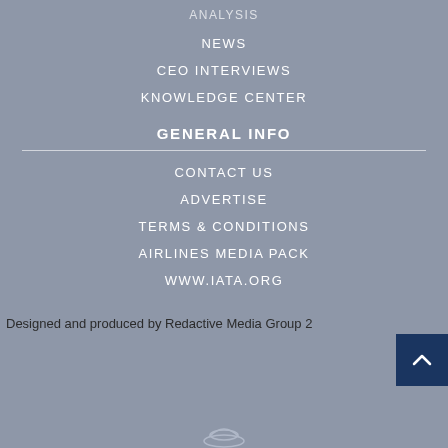NEWS
CEO INTERVIEWS
KNOWLEDGE CENTER
GENERAL INFO
CONTACT US
ADVERTISE
TERMS & CONDITIONS
AIRLINES MEDIA PACK
WWW.IATA.ORG
Designed and produced by Redactive Media Group 2
[Figure (logo): Logo at bottom center, partially visible]